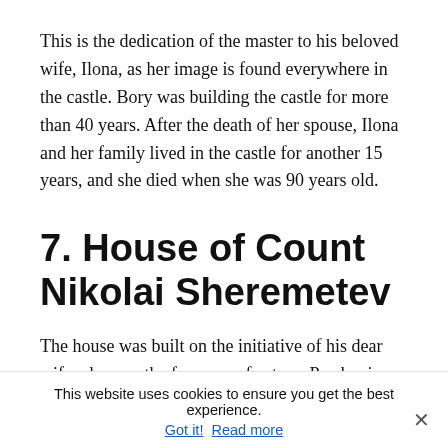This is the dedication of the master to his beloved wife, Ilona, as her image is found everywhere in the castle. Bory was building the castle for more than 40 years. After the death of her spouse, Ilona and her family lived in the castle for another 15 years, and she died when she was 90 years old.
7. House of Count Nikolai Sheremetev
The house was built on the initiative of his dear wife who was the former serf actress Praskovia Zhemchugova. The countess was a kind person: she donated a lot of money to
This website uses cookies to ensure you get the best experience.
Got it!  Read more